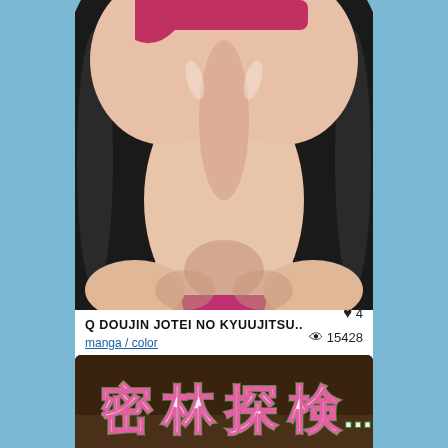[Figure (illustration): Anime/manga style illustration thumbnail showing a female character in a pink outfit, viewed from above, with dark hair spread out.]
Q DOUJIN JOTEI NO KYUUJITSU..
manga / color
♥ 4
👁 15428
28/07/2021
[Figure (illustration): Second manga thumbnail showing Japanese text title in stylized pink/green letters on a dark background reading 密林探検...]